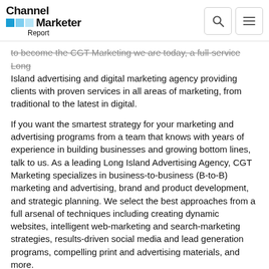Channel Marketer Report
to become the CGT Marketing we are today, a full-service Long Island advertising and digital marketing agency providing clients with proven services in all areas of marketing, from traditional to the latest in digital.
If you want the smartest strategy for your marketing and advertising programs from a team that knows with years of experience in building businesses and growing bottom lines, talk to us. As a leading Long Island Advertising Agency, CGT Marketing specializes in business-to-business (B-to-B) marketing and advertising, brand and product development, and strategic planning. We select the best approaches from a full arsenal of techniques including creating dynamic websites, intelligent web-marketing and search-marketing strategies, results-driven social media and lead generation programs, compelling print and advertising materials, and more.
The right size to partner with you.